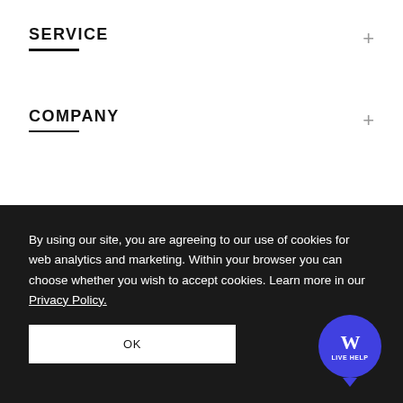SERVICE
COMPANY
By using our site, you are agreeing to our use of cookies for web analytics and marketing. Within your browser you can choose whether you wish to accept cookies. Learn more in our Privacy Policy.
OK